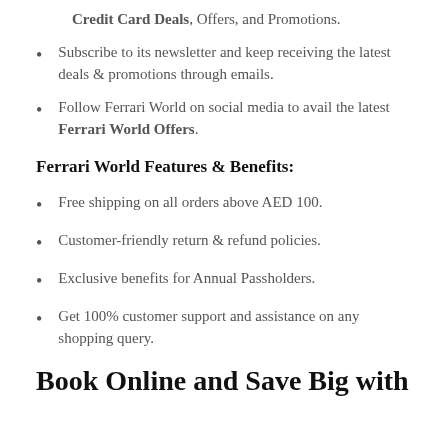Credit Card Deals, Offers, and Promotions.
Subscribe to its newsletter and keep receiving the latest deals & promotions through emails.
Follow Ferrari World on social media to avail the latest Ferrari World Offers.
Ferrari World Features & Benefits:
Free shipping on all orders above AED 100.
Customer-friendly return & refund policies.
Exclusive benefits for Annual Passholders.
Get 100% customer support and assistance on any shopping query.
Book Online and Save Big with